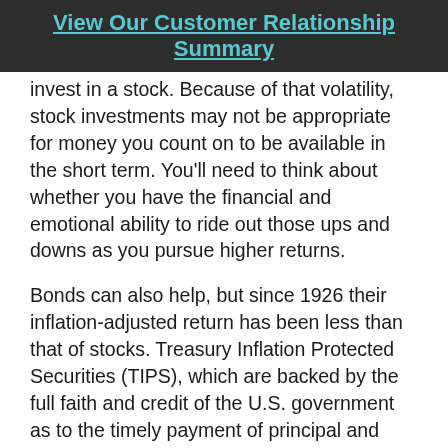View Our Customer Relationship Summary
invest in a stock. Because of that volatility, stock investments may not be appropriate for money you count on to be available in the short term. You'll need to think about whether you have the financial and emotional ability to ride out those ups and downs as you pursue higher returns.
Bonds can also help, but since 1926 their inflation-adjusted return has been less than that of stocks. Treasury Inflation Protected Securities (TIPS), which are backed by the full faith and credit of the U.S. government as to the timely payment of principal and interest, are indexed so that your return should keep pace with inflation. The principal is automatically adjusted every six months to reflect increases or decreases in the Consumer Price Index; as long as you hold a TIPS to maturity, you will receive the greater of the original or inflation-adjusted principal. Unless you own TIPs in a tax-deferred account, you must pay federal income tax on the income plus any